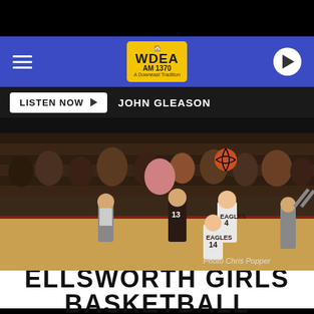[Figure (screenshot): WDEA AM 1370 radio station website screenshot showing navigation bar with hamburger menu, WDEA logo, and play button on blue background]
LISTEN NOW  JOHN GLEASON
[Figure (photo): Girls basketball game photo showing players on court with referee, crowd and bleachers in background. Players wearing #13 and #4 (EAGLES) jerseys. Photo credit: Chris Popper]
Photo Chris Popper
ELLSWORTH GIRLS BASKETBALL